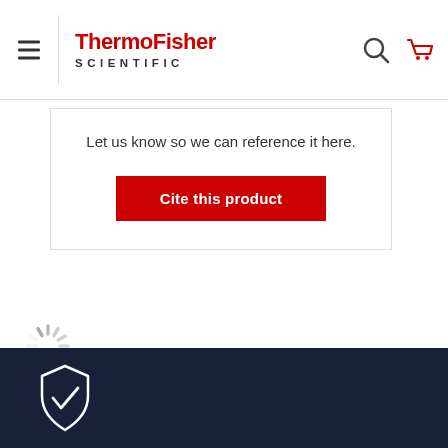ThermoFisher SCIENTIFIC
Let us know so we can reference it here.
Cite this product
[Figure (other): Loading spinner animation icon]
[Figure (other): Dark footer with shield/checkmark icon]